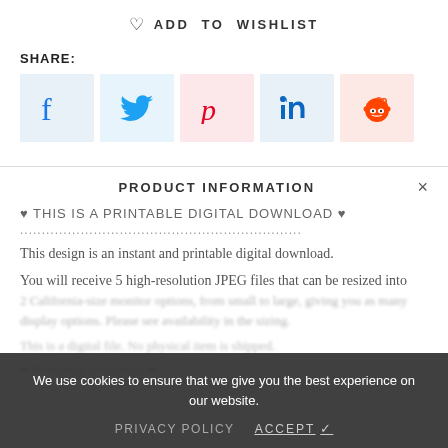♡ ADD TO WISHLIST
SHARE:
[Figure (infographic): Social share buttons: Facebook (blue on light blue), Twitter (blue on light blue), Pinterest (red on light pink), LinkedIn (blue on light blue), Reddit (orange on light orange)]
PRODUCT INFORMATION
♥ THIS IS A PRINTABLE DIGITAL DOWNLOAD ♥
..............................................................
This design is an instant and printable digital download.
You will receive 5 high-resolution JPEG files that can be resized into 2 California-size monitor options, from small to large, giving you as many display options. These are available in the sizing...
This is a digital file. No physical item is shipped.
♥ Printing Process ♥
We use cookies to ensure that we give you the best experience on our website.
PRIVACY POLICY    ACCEPT ✓